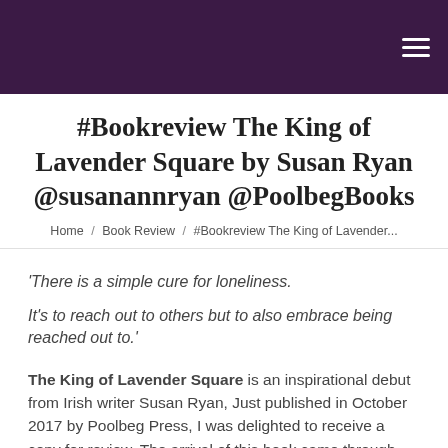#Bookreview The King of Lavender Square by Susan Ryan @susanannryan @PoolbegBooks
Home / Book Review / #Bookreview The King of Lavender...
'There is a simple cure for loneliness.

It's to reach out to others but to also embrace being reached out to.'
The King of Lavender Square is an inspirational debut from Irish writer Susan Ryan, Just published in October 2017 by Poolbeg Press, I was delighted to receive a copy for review. The arrival of this book came through my letterbox with the